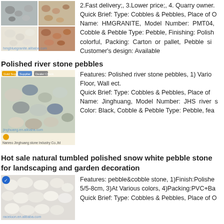[Figure (photo): Grid of 4 product photos showing polished pebbles and cobblestones in various colors]
2.Fast delivery;, 3.Lower price;, 4. Quarry owner. Quick Brief: Type: Cobbles & Pebbles, Place of Origin: Name: HMGRANITE, Model Number: PMT04, Cobble & Pebble Type: Pebble, Finishing: Polished, colorful, Packing: Carton or pallet, Pebble size: Customer's design: Available
Polished river stone pebbles
[Figure (photo): Product listing photo of polished river stone pebbles with seller badge icons, from Jinghuang stone industry]
Features: Polished river stone pebbles, 1) Vario Floor, Wall ect.
Quick Brief: Type: Cobbles & Pebbles, Place of Name: Jinghuang, Model Number: JHS river s Color: Black, Cobble & Pebble Type: Pebble, fea
Hot sale natural tumbled polished snow white pebble stone for landscaping and garden decoration
[Figure (photo): Product listing photo of white snow pebble stones from raceloos alibaba store]
Features: pebble&cobble stone, 1)Finish:Polishe 5/5-8cm, 3)At Various colors, 4)Packing:PVC+Ba Quick Brief: Type: Cobbles & Pebbles, Place of O